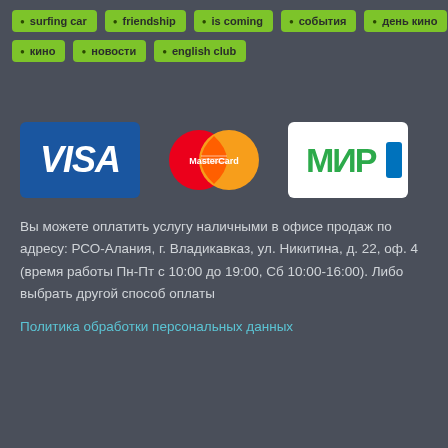surfing car
friendship
is coming
события
день кино
кино
новости
english club
[Figure (logo): VISA, MasterCard, and МИР payment logos displayed side by side]
Вы можете оплатить услугу наличными в офисе продаж по адресу: РСО-Алания, г. Владикавказ, ул. Никитина, д. 22, оф. 4 (время работы Пн-Пт с 10:00 до 19:00, Сб 10:00-16:00). Либо выбрать другой способ оплаты
Политика обработки персональных данных